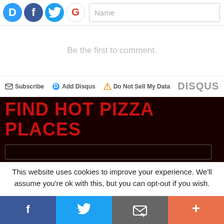[Figure (screenshot): Social login icons (Disqus, Facebook, Twitter, Google) and a Name input field at the top]
Be the first to comment.
Subscribe  Add Disqus  Do Not Sell My Data   DISQUS
FIND HOT PIZZA PLACES
This website uses cookies to improve your experience. We'll assume you're ok with this, but you can opt-out if you wish.
[Figure (screenshot): Share bar with Facebook (blue), Twitter (light blue), Email (grey), and More (orange-red) buttons at the bottom]